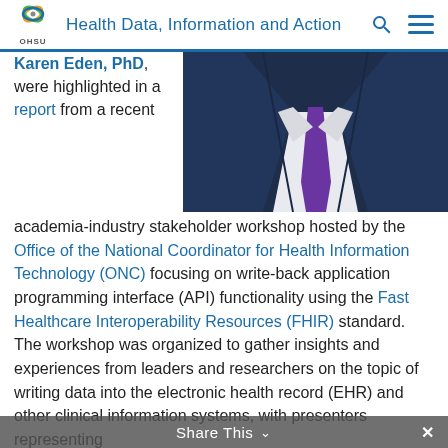Health Data, Information and Action
[Figure (photo): Close-up photo of a man in a dark navy suit with a purple tie and white shirt, shown from the neck/shoulders area]
Karen Eden, PhD, were highlighted in a report from a recent academia-industry stakeholder workshop hosted by the Office of the National Coordinator for Health Information Technology (ONC) focusing on write-back application programming interface (API) functionality using the Fast Healthcare Interoperability Resources (FHIR) standard. The workshop was organized to gather insights and experiences from leaders and researchers on the topic of writing data into the electronic health record (EHR) and other clinical information systems, with presenters representing
Share This